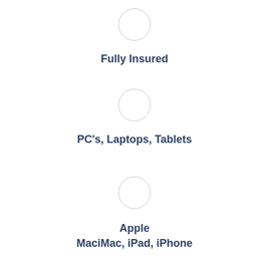[Figure (illustration): Small light gray circle icon, unfilled]
Fully Insured
[Figure (illustration): Small light gray circle icon, unfilled]
PC's, Laptops, Tablets
[Figure (illustration): Small light gray circle icon, unfilled]
Apple
MaciMac, iPad, iPhone